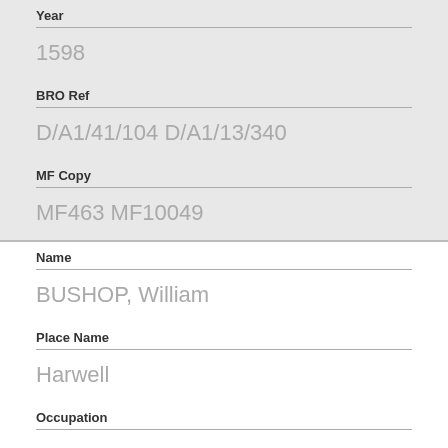Year
1598
BRO Ref
D/A1/41/104 D/A1/13/340
MF Copy
MF463 MF10049
Name
BUSHOP, William
Place Name
Harwell
Occupation
Year